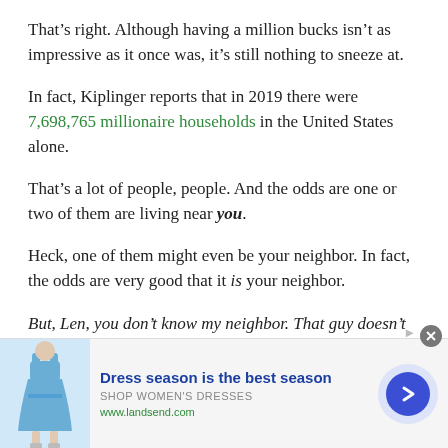That’s right. Although having a million bucks isn’t as impressive as it once was, it’s still nothing to sneeze at.
In fact, Kiplinger reports that in 2019 there were 7,698,765 millionaire households in the United States alone.
That’s a lot of people, people. And the odds are one or two of them are living near you.
Heck, one of them might even be your neighbor. In fact, the odds are very good that it is your neighbor.
But, Len, you don’t know my neighbor. That guy doesn’t look anything like a millionaire.
[Figure (other): Advertisement banner for Lands’ End: image of woman in blue dress, text ‘Dress season is the best season’, ‘SHOP WOMEN’S DRESSES’, ‘www.landsend.com’, with a blue arrow circle button on the right.]